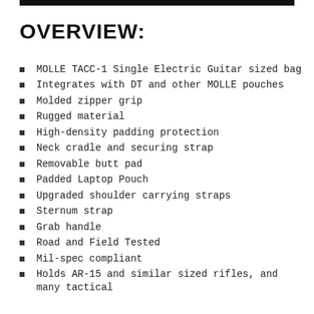OVERVIEW:
MOLLE TACC-1 Single Electric Guitar sized bag
Integrates with DT and other MOLLE pouches
Molded zipper grip
Rugged material
High-density padding protection
Neck cradle and securing strap
Removable butt pad
Padded Laptop Pouch
Upgraded shoulder carrying straps
Sternum strap
Grab handle
Road and Field Tested
Mil-spec compliant
Holds AR-15 and similar sized rifles, and many tactical